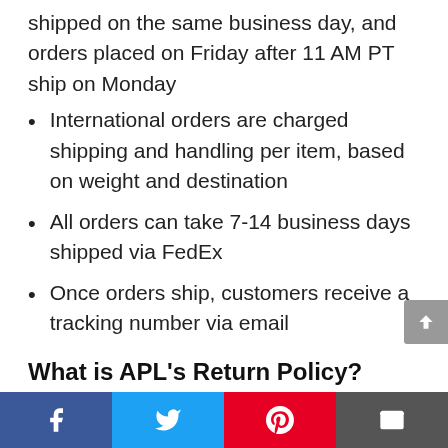shipped on the same business day, and orders placed on Friday after 11 AM PT ship on Monday
International orders are charged shipping and handling per item, based on weight and destination
All orders can take 7-14 business days shipped via FedEx
Once orders ship, customers receive a tracking number via email
What is APL's Return Policy?
This APL shoes review found returns must be received in their original, unworn, intact, unwashed and smoke-free condition with their original
Facebook | Twitter | Pinterest | Email